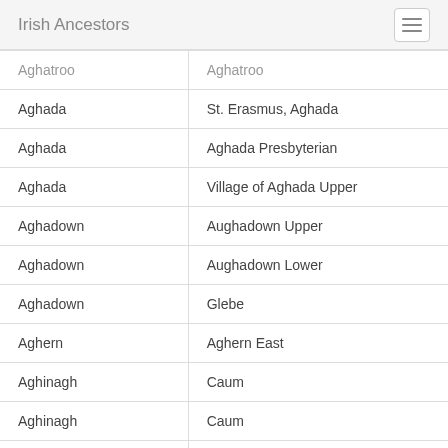Irish Ancestors
| Parish | Townland/Record |
| --- | --- |
| Aghatroo | Aghatroo |
| Aghada | St. Erasmus, Aghada |
| Aghada | Aghada Presbyterian |
| Aghada | Village of Aghada Upper |
| Aghadown | Aughadown Upper |
| Aghadown | Aughadown Lower |
| Aghadown | Glebe |
| Aghern | Aghern East |
| Aghinagh | Caum |
| Aghinagh | Caum |
| Aglish | Aglish |
|  |  |